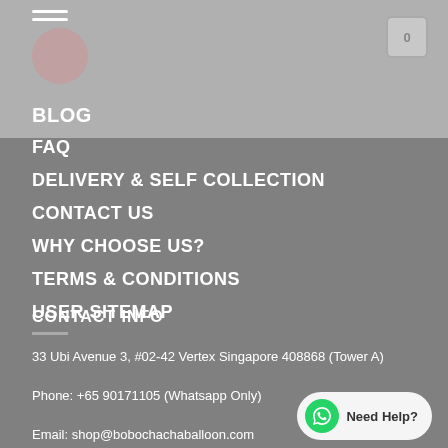BLOG
FAQ
DELIVERY & SELF COLLECTION
CONTACT US
WHY CHOOSE US?
TERMS & CONDITIONS
USER SITEMAP
CONTACT INFO
33 Ubi Avenue 3, #02-42 Vertex Singapore 408868 (Tower A)
Phone: +65 90171105 (Whatsapp Only)
Email: shop@bobochachaballoon.com